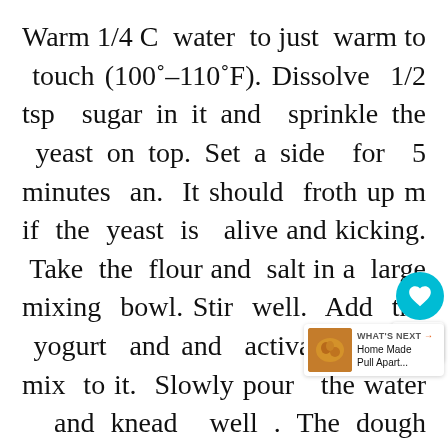Warm 1/4 C water to just warm to touch (100˚–110˚F). Dissolve 1/2 tsp sugar in it and sprinkle the yeast on top. Set a side for 5 minutes an. It should froth up m if the yeast is alive and kicking. Take the flour and salt in a large mixing bowl. Stir well. Add the yogurt and and activated yeast mix to it. Slowly pour the water and knead well . The dough should be a little sticky. As you knead the dough becomes less sticky and softer. If after a few minutes kneading the dough is still very tacky add a few tablespoons of flour. Knead for minutes for a very smooth and pliable dough . Form into a ball. Transfer to an oiled bowl, turn